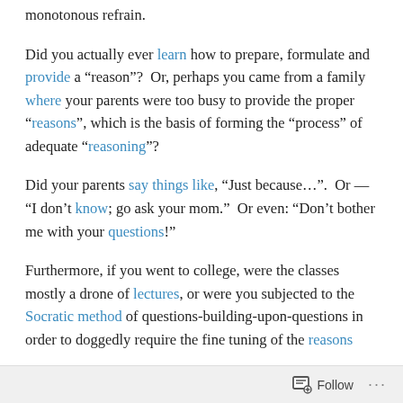monotonous refrain.
Did you actually ever learn how to prepare, formulate and provide a “reason”?  Or, perhaps you came from a family where your parents were too busy to provide the proper “reasons”, which is the basis of forming the “process” of adequate “reasoning”?
Did your parents say things like, “Just because…”.  Or — “I don’t know; go ask your mom.”  Or even: “Don’t bother me with your questions!”
Furthermore, if you went to college, were the classes mostly a drone of lectures, or were you subjected to the Socratic method of questions-building-upon-questions in order to doggedly require the fine tuning of the reasons
Follow